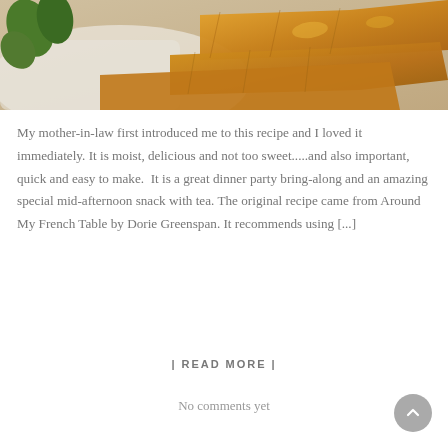[Figure (photo): A photo showing sliced cheesy bread or savory pastry pieces on a white surface, with green herb leaves visible in the upper left corner. The bread appears golden-brown and moist.]
My mother-in-law first introduced me to this recipe and I loved it immediately. It is moist, delicious and not too sweet.....and also important, quick and easy to make.  It is a great dinner party bring-along and an amazing special mid-afternoon snack with tea. The original recipe came from Around My French Table by Dorie Greenspan. It recommends using [...]
| READ MORE |
No comments yet